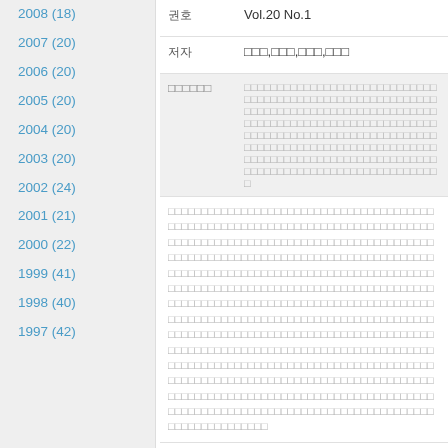2008 (18)
2007 (20)
2006 (20)
2005 (20)
2004 (20)
2003 (20)
2002 (24)
2001 (21)
2000 (22)
1999 (41)
1998 (40)
1997 (42)
| label | value |
| --- | --- |
| 권호 | Vol.20 No.1 |
| 저자 | □□□,□□□,□□□,□□□ |
| □□□□□□ | □□□□□□□□□□□□□□□□□□□□□□□□□□□□□□□□□□□□□□□□□□□□□□□□□□□□□□□□□□□□□□□□□□□□□□□□□□□□□□□□□□□□□□□□□□□□□□□□□□□□□□□□□□□□□□□□□□□□□□□□□□□□□□□□□□□□□□□□□□□□□□□□□□□□□□□□□□□□□□□□□□□□□□□□□□□□□□□□□□□□□□□□□□□□□□□□□□□□□□□□□□□□□□□□□□□□□□□□□□□□□□□□□□□□□□□□□ |
| 초록 | □□□□□□□□□□□□□□□□□□□□□□□□□□□□□□□□□□□□□□□□□□□□□□□□□□□□□□□□□□□□□□□□□□□□□□□□□□□□□□□□□□□□□□□□□□□□□□□□□□□□□□□□□□□□□□□□□□□□□□□□□□□□□□□□□□□□□□□□□□□□□□□□□□□□□□□□□□□□□□□□□□□□□□□□□□□□□□□□□□□□□□□□□□□□□□□□□□□□□□□□□□□□□□□□□□□□□□□□□□□□□□□□□□□□□□□□□□□□□□□□□□□□□□□□□□□□□□□□□□□□□□□□□□□□□□□□□□□□□□□□□□□□□□□□□□□□□□□□□□□□□□□□□□□□□□□□□□□□□□□□□□□□□□□□□□□□□□□□□□□□□□□□□□□□□□□□□□□□□□□□□□□□□□□□□□□□□□□□□□□□□□□□□□□□□□□□□□□□□□□□□□□□□□□□□□□□□□□□□□□□□□□□□□□□□□□□□□□□□□□□□□□□□□□□□□□□□□□□□□□□□□□□□□□□□□□□□□□□□□□□□□□□□□□□□□□□□□□□□□□□□□□□□□□□□□□□□□□□□□□□□□□□□□□□□□□□□□□□□□□□□□□□□□□□□□□□□□□□□□□□□□□□□□□□□□□□□□□ |
| 주제어 | □□□ / □□□□□ / □□□□ / □□□□□ / □□□□ / |
| 페이지 | 63-87 |
| 피인용수 | □□□□ (1057) |
| DOI | http://doi.org/10.6146/univj.20-1 |